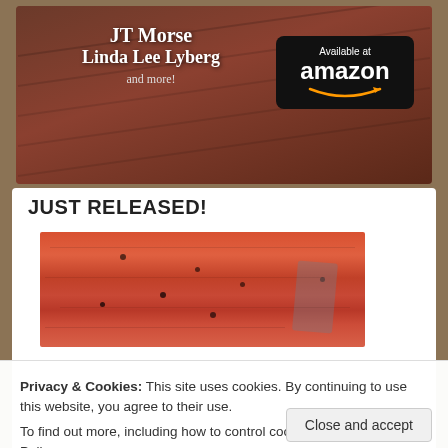[Figure (illustration): Book advertisement banner with dark reddish-brown background showing stairs, with author names 'JT Morse' and 'Linda Lee Lyberg and more!' in white serif text, and an Amazon 'Available at amazon' badge on the right]
JUST RELEASED!
[Figure (photo): Aerial or textured photo strip with red and orange rocky/earthy terrain tones with scattered dark spots]
Privacy & Cookies: This site uses cookies. By continuing to use this website, you agree to their use.
To find out more, including how to control cookies, see here: Cookie Policy